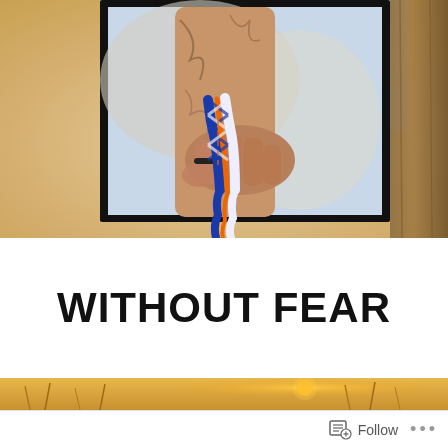[Figure (photo): Close-up photo of a tattooed hand holding a braided rope in blue, white, and orange colors, against a blurred warm outdoor background. The photo is framed with a thick black border. A wooden post/tree is visible at the right edge.]
WITHOUT FEAR
[Figure (photo): Warm golden outdoor photo strip showing tall grasses and plants with sunlight/sun visible, creating a warm bokeh background.]
Follow ...